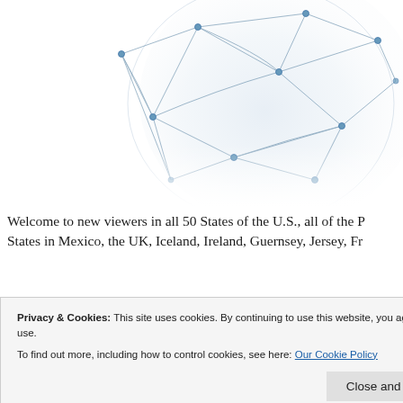[Figure (illustration): A stylized globe/network diagram with nodes connected by lines, rendered in light blue and grey tones, partially cropped at the top of the page.]
Welcome to new viewers in all 50 States of the U.S., all of the P States in Mexico, the UK, Iceland, Ireland, Guernsey, Jersey, Fr Denmark, Norway, Sweden, Finland, Estonia, Lithuania, the Ru Republic of Moldova, Georgia, Poland, Germany, Austria, Czec Luxembourg, Portugal, Gibraltar, Spain, Italy, Slovenia, Hungar Bosnia and Herzegovina, Serbia, Macedonia the former Yugosla Cyprus, Turkey, Armenia, Azerbaijan, Lebanon, Israel, Saudi Ar
Privacy & Cookies: This site uses cookies. By continuing to use this website, you agree to their use.
To find out more, including how to control cookies, see here: Our Cookie Policy
Namibia, South Africa, Argentina, Chile, Paraguay, Uruguay, Br